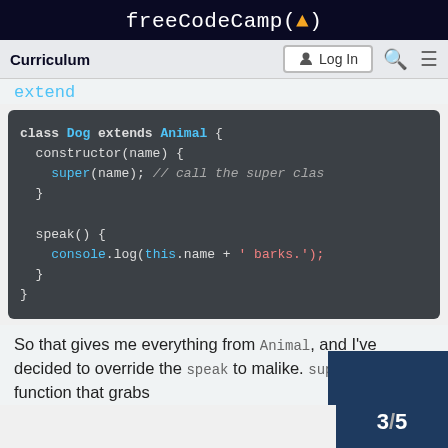freeCodeCamp(🔥)
Curriculum | Log In
extend
[Figure (screenshot): Code block showing JavaScript class Dog extends Animal with constructor and speak method]
So that gives me everything from Animal, and I've decided to override the speak to ma... like. super is the function that grabs